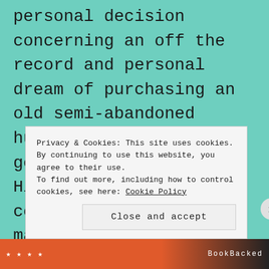personal decision concerning an off the record and personal dream of purchasing an old semi-abandoned hunting-box on the gentle slopes of Ankle Hill for use as a cottage hospital.  Like many of the big houses then standing in the town, the owners of the once grand mansion known as Wyndham Lodge had moved as
Privacy & Cookies: This site uses cookies. By continuing to use this website, you agree to their use.
To find out more, including how to control cookies, see here: Cookie Policy
Close and accept